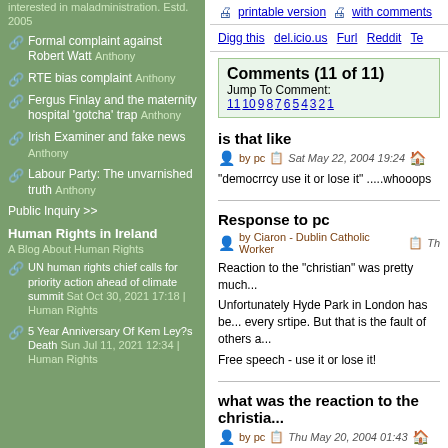interested in maladministration. Estd. 2005
Formal complaint against Robert Watt Anthony
RTE bias complaint Anthony
Fergus Finlay and the maternity hospital 'gotcha' trap Anthony
Irish Examiner and fake news Anthony
Labour Party: The unvarnished truth Anthony
Public Inquiry >>
Human Rights in Ireland
A Blog About Human Rights
UN human rights chief calls for priority action ahead of climate summit Sat Oct 30, 2021 17:18 | Human Rights
5 Year Anniversary Of Kem Ley?s Death Sun Jul 11, 2021 12:34 | Human Rights
printable version   with comments
Digg this   del.icio.us   Furl   Reddit   Te...
Comments (11 of 11)
Jump To Comment: 11 10 9 8 7 6 5 4 3 2 1
is that like
by pc   Sat May 22, 2004 19:24
"democrrcy use it or lose it" .....whooops
Response to pc
by Ciaron - Dublin Catholic Worker   Th...
Reaction to the "christian" was pretty much...
Unfortunately Hyde Park in London has be... every srtipe. But that is the fault of others a...
Free speech - use it or lose it!
what was the reaction to the christia...
by pc   Thu May 20, 2004 01:43